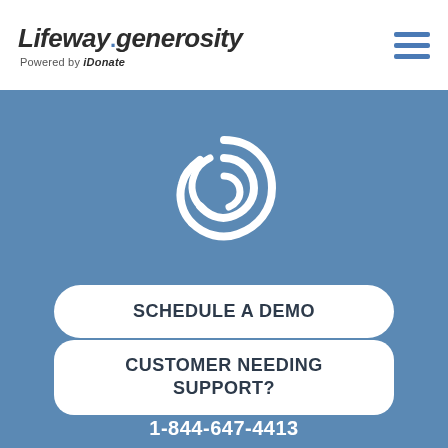Lifeway.generosity — Powered by iDonate
[Figure (logo): Lifeway generosity wave icon — white circular wave/swirl logo on blue background]
SCHEDULE A DEMO
CUSTOMER NEEDING SUPPORT?
1-844-647-4413